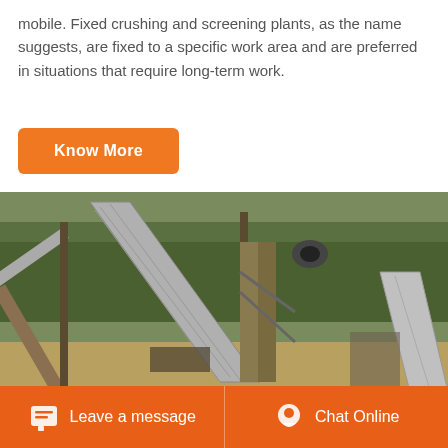mobile. Fixed crushing and screening plants, as the name suggests, are fixed to a specific work area and are preferred in situations that require long-term work.
Know More
[Figure (photo): Industrial crushing and screening plant with conveyor belts set against a wooded background]
Leave a message   Chat Online